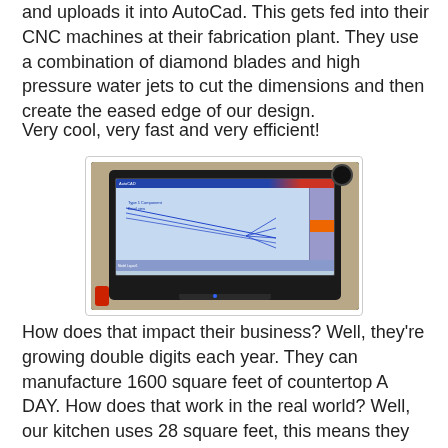and uploads it into AutoCad.  This gets fed into their CNC machines at their fabrication plant.  They use a combination of diamond blades and high pressure water jets to cut the dimensions and then create the eased edge of our design.
Very cool, very fast and very efficient!
[Figure (photo): Photo of a ruggedized tablet/laptop device showing an AutoCAD drawing on its screen, with a camera mounted on top of the device. The screen displays a CAD drawing with diagonal lines and a sidebar menu on the right.]
How does that impact their business?  Well, they're growing double digits each year.  They can manufacture 1600 square feet of countertop A DAY.  How does that work in the real world?  Well, our kitchen uses 28 square feet, this means they can create 57 kitchens every single day.  Amazing productivity!